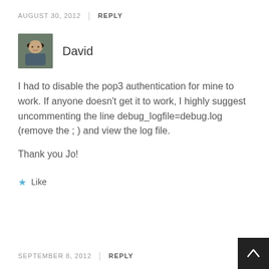AUGUST 30, 2012 | REPLY
[Figure (photo): Avatar photo of David — young man wearing a hat, outdoors]
David
I had to disable the pop3 authentication for mine to work. If anyone doesn't get it to work, I highly suggest uncommenting the line debug_logfile=debug.log (remove the ; ) and view the log file.

Thank you Jo!
★ Like
SEPTEMBER 8, 2012 | REPLY